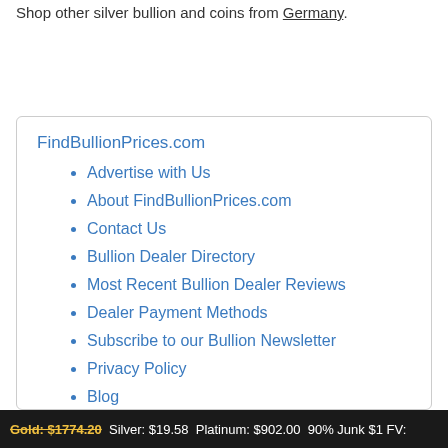Shop other silver bullion and coins from Germany.
FindBullionPrices.com
Advertise with Us
About FindBullionPrices.com
Contact Us
Bullion Dealer Directory
Most Recent Bullion Dealer Reviews
Dealer Payment Methods
Subscribe to our Bullion Newsletter
Privacy Policy
Blog
Gold: $1774.20  Silver: $19.58  Platinum: $902.00  90% Junk $1 FV: $...  Gold/Silver Ratio: $0.01